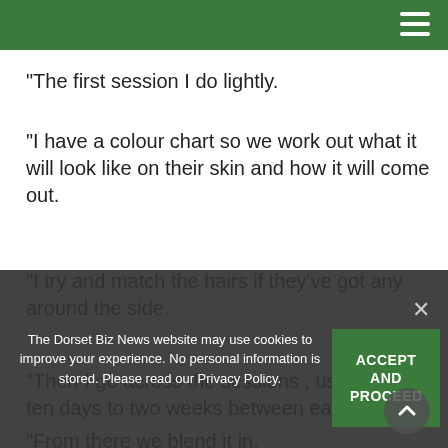“The first session I do lightly.
“I have a colour chart so we work out what it will look like on their skin and how it will come out.
“I try and match the hairs if they’ve got any around the side.
“Then I go across the sessions , usually it’s ten days to two weeks between each session.
“From there we blend it in.
“It takes a long time, with a full head five hours a session.
The Dorset Biz News website may use cookies to improve your experience. No personal information is stored. Please read our Privacy Policy.